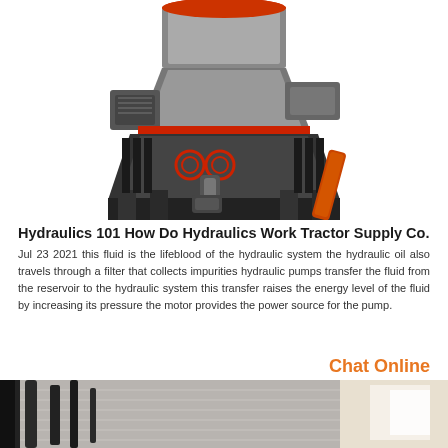[Figure (photo): Large industrial hydraulic cone crusher machine, metallic silver and black with red accents and a large orange/red hydraulic arm, photographed on white background from a low angle.]
Hydraulics 101 How Do Hydraulics Work Tractor Supply Co.
Jul 23 2021  this fluid is the lifeblood of the hydraulic system the hydraulic oil also travels through a filter that collects impurities hydraulic pumps transfer the fluid from the reservoir to the hydraulic system this transfer raises the energy level of the fluid by increasing its pressure the motor provides the power source for the pump.
Chat Online
[Figure (photo): Industrial building exterior with metal pipes/conduits running along the wall of a corrugated metal structure, viewed from a low angle with bright daylight visible through an opening.]